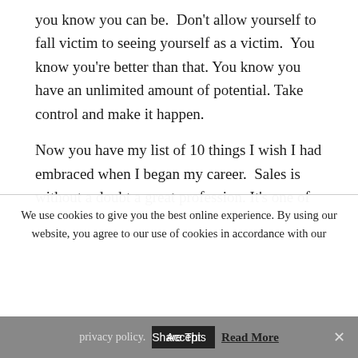you know you can be.  Don't allow yourself to fall victim to seeing yourself as a victim.  You know you're better than that. You know you have an unlimited amount of potential. Take control and make it happen.
Now you have my list of 10 things I wish I had embraced when I began my career.  Sales is without a doubt a great profession. It's one of the few professions that offers unlimited growth opportunities and the ability to
We use cookies to give you the best online experience. By using our website, you agree to our use of cookies in accordance with our
privacy policy.  Accept  Read More  Share This  ×